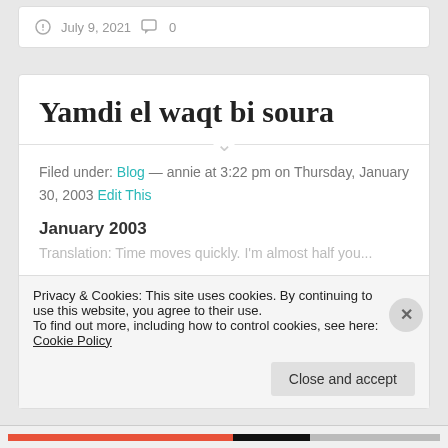July 9, 2021   0
Yamdi el waqt bi soura
Filed under: Blog — annie at 3:22 pm on Thursday, January 30, 2003 Edit This
January 2003
Translation: Time moves quickly. I'm almost half you...
Privacy & Cookies: This site uses cookies. By continuing to use this website, you agree to their use.
To find out more, including how to control cookies, see here: Cookie Policy
Close and accept